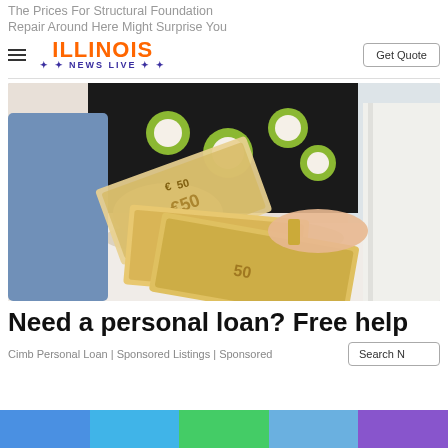The Prices For Structural Foundation Repair Around Here Might Surprise You
[Figure (logo): Illinois News Live logo with orange ILLINOIS text and blue stars and NEWS LIVE text]
[Figure (photo): Person holding multiple 50 euro banknotes over a white table surface, wearing a floral patterned top and denim jacket with a gold bracelet]
Need a personal loan? Free help
Cimb Personal Loan | Sponsored Listings | Sponsored